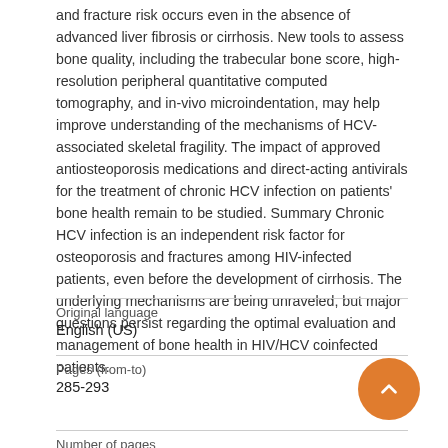and fracture risk occurs even in the absence of advanced liver fibrosis or cirrhosis. New tools to assess bone quality, including the trabecular bone score, high-resolution peripheral quantitative computed tomography, and in-vivo microindentation, may help improve understanding of the mechanisms of HCV-associated skeletal fragility. The impact of approved antiosteoporosis medications and direct-acting antivirals for the treatment of chronic HCV infection on patients' bone health remain to be studied. Summary Chronic HCV infection is an independent risk factor for osteoporosis and fractures among HIV-infected patients, even before the development of cirrhosis. The underlying mechanisms are being unraveled, but major questions persist regarding the optimal evaluation and management of bone health in HIV/HCV coinfected patients.
| Field | Value |
| --- | --- |
| Original language | English (US) |
| Pages (from-to) | 285-293 |
| Number of pages |  |